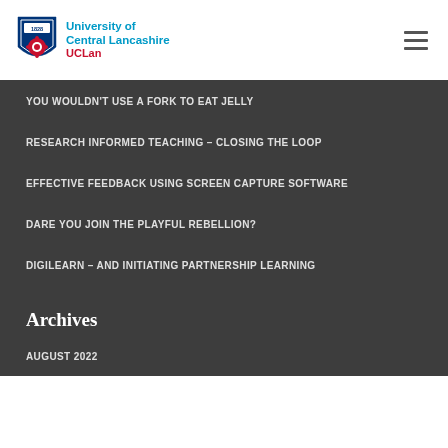[Figure (logo): University of Central Lancashire (UCLan) logo with shield emblem]
YOU WOULDN'T USE A FORK TO EAT JELLY
RESEARCH INFORMED TEACHING – CLOSING THE LOOP
EFFECTIVE FEEDBACK USING SCREEN CAPTURE SOFTWARE
DARE YOU JOIN THE PLAYFUL REBELLION?
DIGILEARN – AND INITIATING PARTNERSHIP LEARNING
Archives
AUGUST 2022